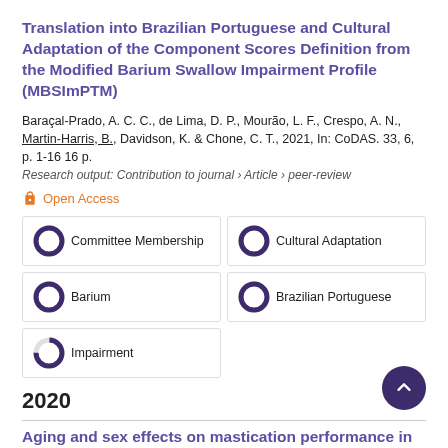Translation into Brazilian Portuguese and Cultural Adaptation of the Component Scores Definition from the Modified Barium Swallow Impairment Profile (MBSImPTM)
Baraçal-Prado, A. C. C., de Lima, D. P., Mourão, L. F., Crespo, A. N., Martin-Harris, B., Davidson, K. & Chone, C. T., 2021, In: CoDAS. 33, 6, p. 1-16 16 p.
Research output: Contribution to journal › Article › peer-review
Open Access
100% Committee Membership
100% Cultural Adaptation
100% Barium
100% Brazilian Portuguese
75% Impairment
2020
Aging and sex effects on mastication performance in healthy, nondysphagic, community-dwelling adults